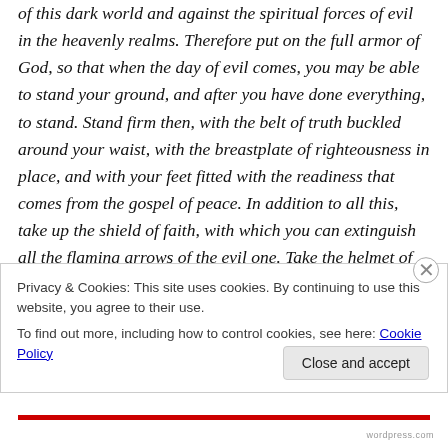of this dark world and against the spiritual forces of evil in the heavenly realms. Therefore put on the full armor of God, so that when the day of evil comes, you may be able to stand your ground, and after you have done everything, to stand. Stand firm then, with the belt of truth buckled around your waist, with the breastplate of righteousness in place, and with your feet fitted with the readiness that comes from the gospel of peace. In addition to all this, take up the shield of faith, with which you can extinguish all the flaming arrows of the evil one. Take the helmet of
Privacy & Cookies: This site uses cookies. By continuing to use this website, you agree to their use.
To find out more, including how to control cookies, see here: Cookie Policy
Close and accept